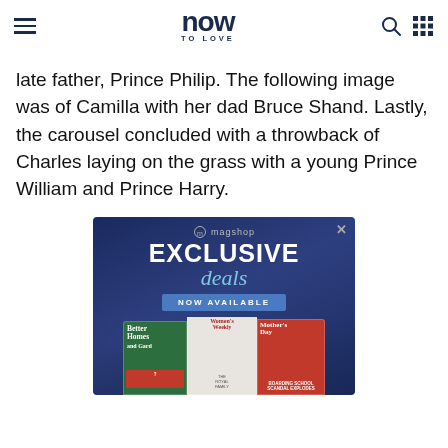now TO LOVE
late father, Prince Philip. The following image was of Camilla with her dad Bruce Shand. Lastly, the carousel concluded with a throwback of Charles laying on the grass with a young Prince William and Prince Harry.
[Figure (other): Advertisement banner for magshop EXCLUSIVE deals NOW AVAILABLE, showing magazine covers including Better Homes and Gardens, Women's Weekly, and Mother's Day magazine]